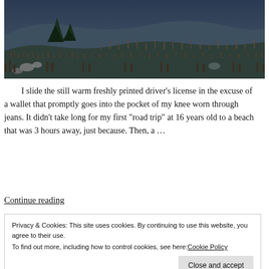[Figure (photo): Outdoor landscape photo showing a hillside with bare scrub brush, rocks, and a few dark conifer trees against a twilight sky. Colors are muted blues, grays, and browns.]
I slide the still warm freshly printed driver's license in the excuse of a wallet that promptly goes into the pocket of my knee worn through jeans. It didn't take long for my first "road trip" at 16 years old to a beach that was 3 hours away, just because. Then, a ...
Continue reading
Privacy & Cookies: This site uses cookies. By continuing to use this website, you agree to their use.
To find out more, including how to control cookies, see here: Cookie Policy
Close and accept